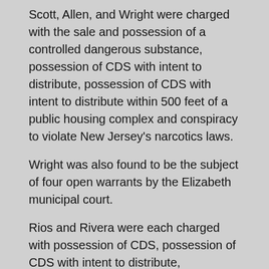Scott, Allen, and Wright were charged with the sale and possession of a controlled dangerous substance, possession of CDS with intent to distribute, possession of CDS with intent to distribute within 500 feet of a public housing complex and conspiracy to violate New Jersey's narcotics laws.
Wright was also found to be the subject of four open warrants by the Elizabeth municipal court.
Rios and Rivera were each charged with possession of CDS, possession of CDS with intent to distribute, possession of CDS with intent to distribute within 1000 feet of Broadway Elementary School, maintaining and operating a drug distribution facility and conspiracy to violate New Jersey's narcotics laws.